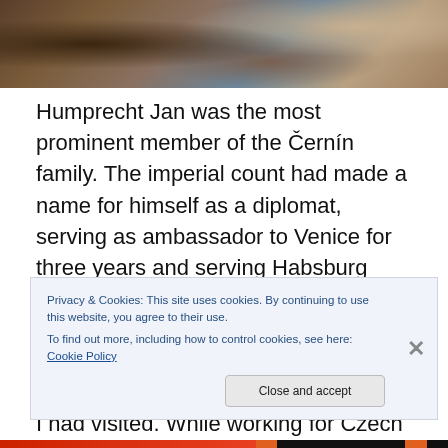[Figure (photo): Interior photo showing antique furniture, chairs with ornate upholstery and a wooden table, appears to be a castle or historic interior]
Humprecht Jan was the most prominent member of the Černín family. The imperial count had made a name for himself as a diplomat, serving as ambassador to Venice for three years and serving Habsburg Leopold I for many years. He had inherited much property in the Czech lands, including Kost Castle, Krásný Dvůr Chateau and Mělník, all of which I had visited. While working for Czech and Austrian King Leopold I, Humprecht Jan became good friends with thebisho...
Privacy & Cookies: This site uses cookies. By continuing to use this website, you agree to their use.
To find out more, including how to control cookies, see here: Cookie Policy
Close and accept